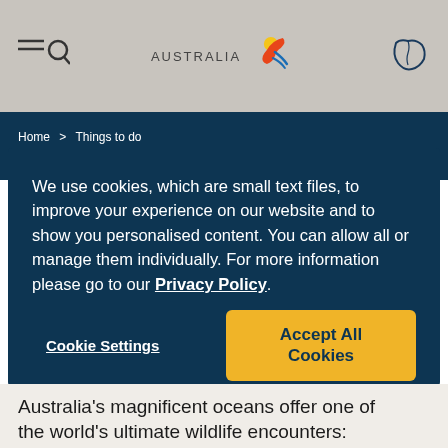Tourism Australia website header with navigation menu icon, Australia logo, and map icon
Home > Things to do > Animal encounters and wildlife experiences in Australia
We use cookies, which are small text files, to improve your experience on our website and to show you personalised content. You can allow all or manage them individually. For more information please go to our Privacy Policy.
Cookie Settings | Accept All Cookies
Australia's magnificent oceans offer one of the world's ultimate wildlife encounters: